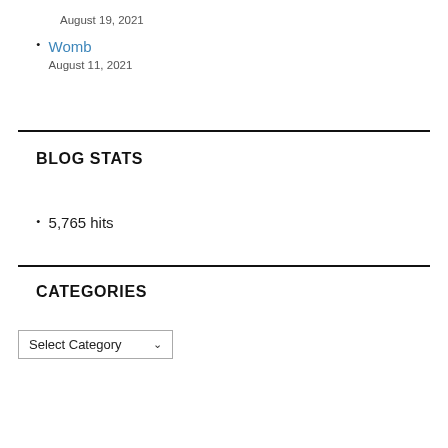August 19, 2021
Womb
August 11, 2021
BLOG STATS
5,765 hits
CATEGORIES
Select Category